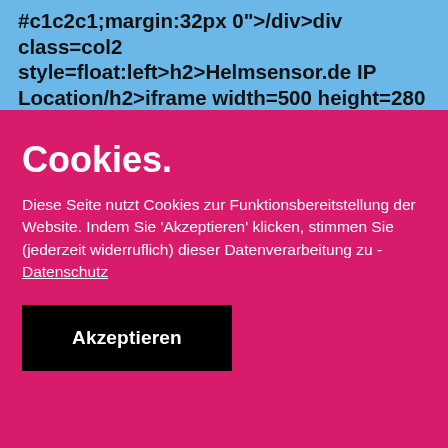#c1c2c1;margin:32px 0">/div>div class=col2 style=float:left>h2>Helmsensor.de IP Location/h2>iframe width=500 height=280 frameborder=0 style="border:1px solid #000;margin:16px 0" data-ozsrc="https://www.google.com/maps/embed/v1/view?
Cookies.
Diese Seite nutzt Cookies zur Funktionsbereitstellung der Website. Indem Sie 'Akzeptieren' klicken, stimmen Sie (jederzeit widerruflich) dieser Datenverarbeitung zu - Datenschutz
Akzeptieren